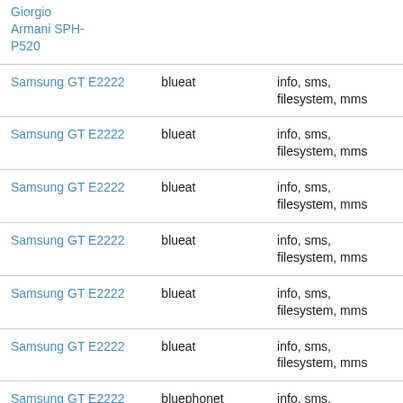| Giorgio Armani SPH-P520 |  |  |
| Samsung GT E2222 | blueat | info, sms, filesystem, mms |
| Samsung GT E2222 | blueat | info, sms, filesystem, mms |
| Samsung GT E2222 | blueat | info, sms, filesystem, mms |
| Samsung GT E2222 | blueat | info, sms, filesystem, mms |
| Samsung GT E2222 | blueat | info, sms, filesystem, mms |
| Samsung GT E2222 | blueat | info, sms, filesystem, mms |
| Samsung GT E2222 | bluephonet | info, sms, filesystem, mms |